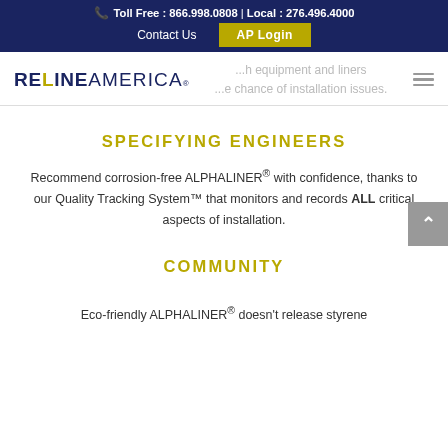Toll Free : 866.998.0808 | Local : 276.496.4000 | Contact Us | AP Login
[Figure (logo): Reline America logo with stylized text]
SPECIFYING ENGINEERS
Recommend corrosion-free ALPHALINER® with confidence, thanks to our Quality Tracking System™ that monitors and records ALL critical aspects of installation.
COMMUNITY
Eco-friendly ALPHALINER® doesn't release styrene